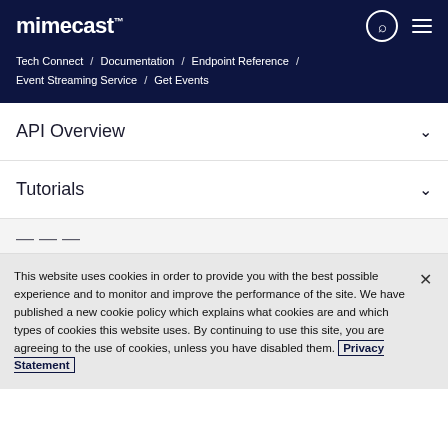mimecast — Tech Connect / Documentation / Endpoint Reference / Event Streaming Service / Get Events
API Overview
Tutorials
This website uses cookies in order to provide you with the best possible experience and to monitor and improve the performance of the site. We have published a new cookie policy which explains what cookies are and which types of cookies this website uses. By continuing to use this site, you are agreeing to the use of cookies, unless you have disabled them. Privacy Statement